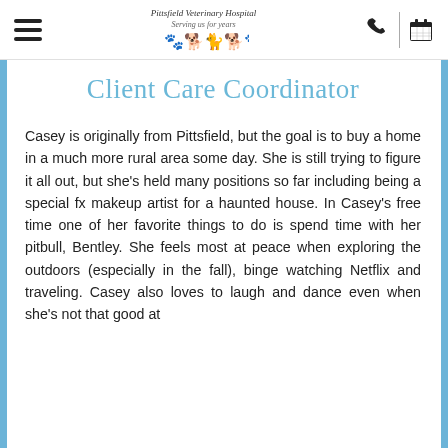Pittsfield Veterinary Hospital — navigation header with hamburger menu, logo, phone icon, and calendar icon
Client Care Coordinator
Casey is originally from Pittsfield, but the goal is to buy a home in a much more rural area some day. She is still trying to figure it all out, but she's held many positions so far including being a special fx makeup artist for a haunted house. In Casey's free time one of her favorite things to do is spend time with her pitbull, Bentley. She feels most at peace when exploring the outdoors (especially in the fall), binge watching Netflix and traveling. Casey also loves to laugh and dance even when she's not that good at